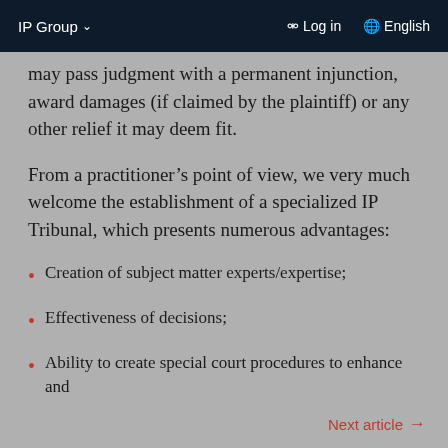IP Group ∨   Log in   English
may pass judgment with a permanent injunction, award damages (if claimed by the plaintiff) or any other relief it may deem fit.
From a practitioner’s point of view, we very much welcome the establishment of a specialized IP Tribunal, which presents numerous advantages:
Creation of subject matter experts/expertise;
Effectiveness of decisions;
Ability to create special court procedures to enhance and
Next article →